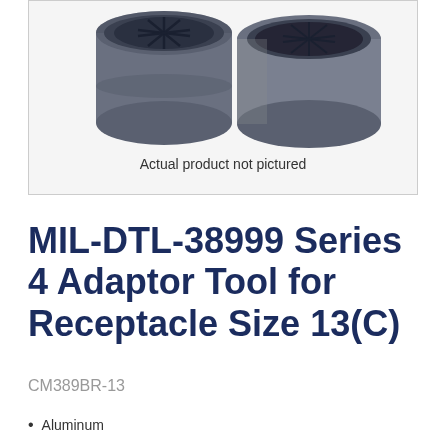[Figure (photo): Two dark gray cylindrical connector/adaptor tool components shown side by side — one viewed from top showing internal fins, one viewed from front — with caption 'Actual product not pictured' below]
Actual product not pictured
MIL-DTL-38999 Series 4 Adaptor Tool for Receptacle Size 13(C)
CM389BR-13
Aluminum